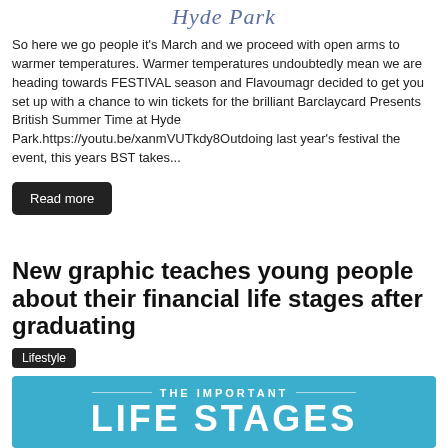[Figure (logo): Hyde Park stylized italic logo text in blue-grey]
So here we go people it's March and we proceed with open arms to warmer temperatures. Warmer temperatures undoubtedly mean we are heading towards FESTIVAL season and Flavoumagr decided to get you set up with a chance to win tickets for the brilliant Barclaycard Presents British Summer Time at Hyde Park.https://youtu.be/xanmVUTkdy8Outdoing last year's festival the event, this years BST takes...
Read more
New graphic teaches young people about their financial life stages after graduating
Lifestyle
[Figure (infographic): Blue infographic banner showing 'THE IMPORTANT' with decorative lines above large bold text 'LIFE STAGES']